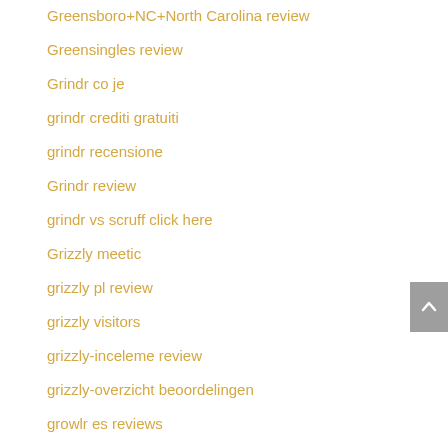Greensboro+NC+North Carolina review
Greensingles review
Grindr co je
grindr crediti gratuiti
grindr recensione
Grindr review
grindr vs scruff click here
Grizzly meetic
grizzly pl review
grizzly visitors
grizzly-inceleme review
grizzly-overzicht beoordelingen
growlr es reviews
Growlr lgbt website